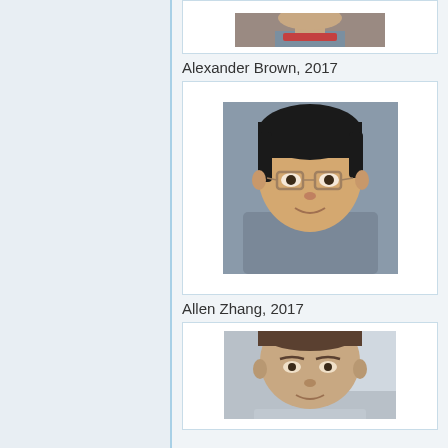[Figure (photo): Partial photo of Alexander Brown at the top of page, cropped]
Alexander Brown, 2017
[Figure (photo): Portrait photo of Allen Zhang, a young man with black hair and glasses, wearing a light blue shirt]
Allen Zhang, 2017
[Figure (photo): Partial portrait photo at bottom of page, cropped, showing a young man with brown hair]